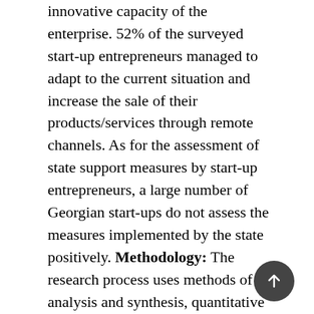innovative capacity of the enterprise. 52% of the surveyed start-up entrepreneurs managed to adapt to the current situation and increase the sale of their products/services through remote channels. As for the assessment of state support measures by start-up entrepreneurs, a large number of Georgian start-ups do not assess the measures implemented by the state positively. Methodology: The research process uses methods of analysis and synthesis, quantitative and qualitative, interview/survey, grouping, relative and average values, graphing, comparison, data analysis, and others. Main Findings: Studies have shown that for the start-up entrepreneurs, the main problem remains: inaccessible funding, workers' qualifications gap, inflation, taxes, regulation, political instability, inadequate provision of infrastructure, amount of taxes, and other factors. Conclusions: The state should take the following measures to support business start-